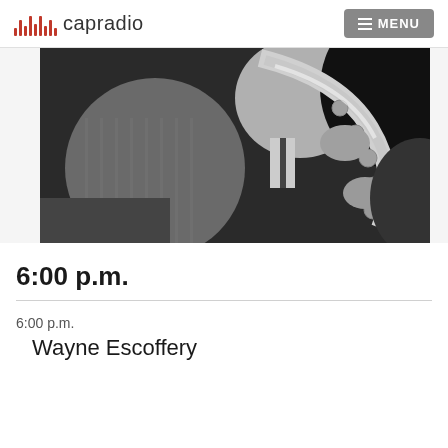capradio  MENU
[Figure (photo): Black and white photograph of a jazz musician playing saxophone, wearing a pinstripe suit and tie, close-up shot]
6:00 p.m.
6:00 p.m.
Wayne Escoffery